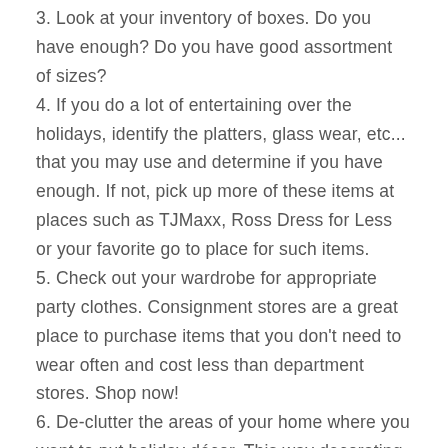3. Look at your inventory of boxes. Do you have enough? Do you have good assortment of sizes?
4. If you do a lot of entertaining over the holidays, identify the platters, glass wear, etc... that you may use and determine if you have enough. If not, pick up more of these items at places such as TJMaxx, Ross Dress for Less or your favorite go to place for such items.
5. Check out your wardrobe for appropriate party clothes. Consignment stores are a great place to purchase items that you don't need to wear often and cost less than department stores. Shop now!
6. De-clutter the areas of your home where you want to put holiday décor. This way decorating will be a cinch.